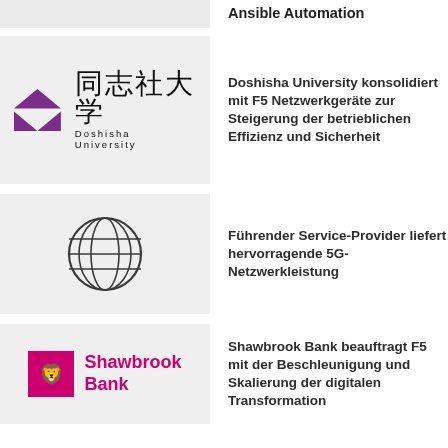Ansible Automation
[Figure (logo): Ansible automation logo placeholder (grey box)]
Doshisha University konsolidiert mit F5 Netzwerkgeräte zur Steigerung der betrieblichen Effizienz und Sicherheit
[Figure (logo): Doshisha University logo with purple triangles and Japanese characters 同志社大学]
Führender Service-Provider liefert hervorragende 5G-Netzwerkleistung
[Figure (logo): Globe/network wireframe icon]
Shawbrook Bank beauftragt F5 mit der Beschleunigung und Skalierung der digitalen Transformation
[Figure (logo): Shawbrook Bank logo with pink lion icon]